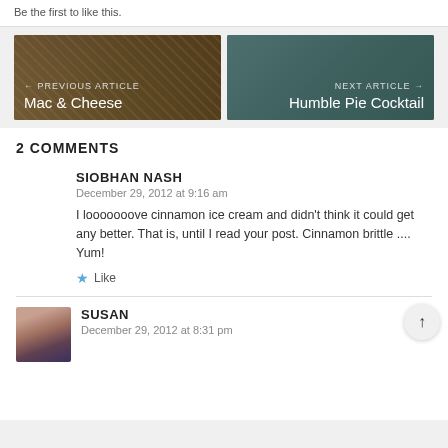Be the first to like this.
[Figure (photo): Previous article thumbnail showing mac and cheese in a bowl, dark background]
← PREVIOUS ARTICLE
Mac & Cheese
[Figure (photo): Next article thumbnail showing a cocktail drink, teal background]
NEXT ARTICLE →
Humble Pie Cocktail
2 COMMENTS
SIOBHAN NASH
December 29, 2012 at 9:16 am
I looooooove cinnamon ice cream and didn't think it could get any better. That is, until I read your post. Cinnamon brittle .... Yum!
Like
[Figure (photo): Avatar photo of Susan, a woman with glasses smiling]
SUSAN
December 29, 2012 at 8:31 pm